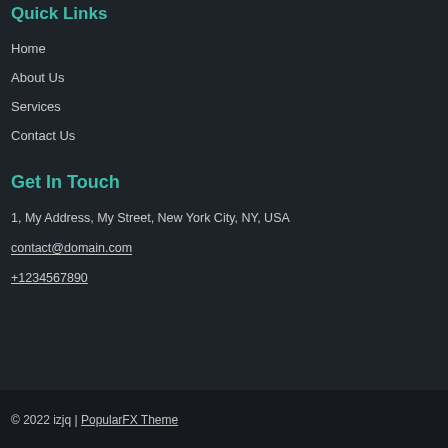Quick Links
Home
About Us
Services
Contact Us
Get In Touch
1, My Address, My Street, New York City, NY, USA
contact@domain.com
+1234567890
© 2022 izjq | PopularFX Theme